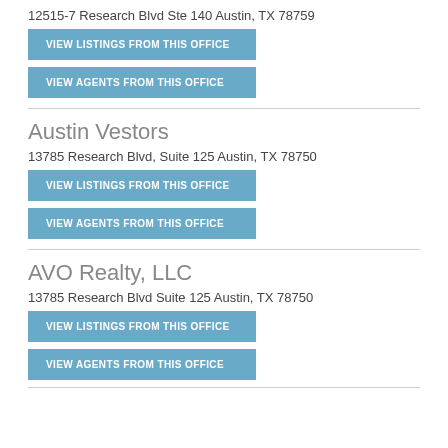12515-7 Research Blvd Ste 140 Austin, TX 78759
VIEW LISTINGS FROM THIS OFFICE
VIEW AGENTS FROM THIS OFFICE
Austin Vestors
13785 Research Blvd, Suite 125 Austin, TX 78750
VIEW LISTINGS FROM THIS OFFICE
VIEW AGENTS FROM THIS OFFICE
AVO Realty, LLC
13785 Research Blvd Suite 125 Austin, TX 78750
VIEW LISTINGS FROM THIS OFFICE
VIEW AGENTS FROM THIS OFFICE